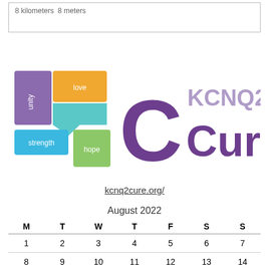8 kilometers  8 meters
[Figure (logo): KCNQ2 Cure logo with colored blocks showing unity, love, strength, hope and stylized C with KCNQ2 Cure text in purple]
kcnq2cure.org/
| M | T | W | T | F | S | S |
| --- | --- | --- | --- | --- | --- | --- |
| 1 | 2 | 3 | 4 | 5 | 6 | 7 |
| 8 | 9 | 10 | 11 | 12 | 13 | 14 |
| 15 | 16 | 17 | 18 | 19 | 20 | 21 |